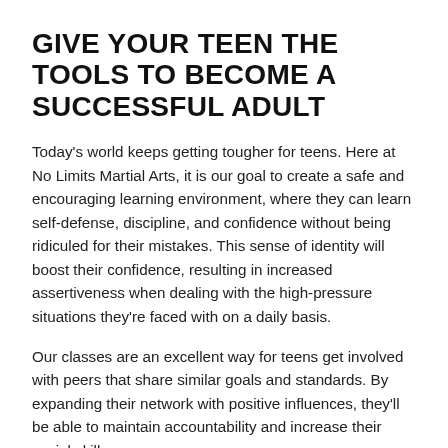GIVE YOUR TEEN THE TOOLS TO BECOME A SUCCESSFUL ADULT
Today's world keeps getting tougher for teens. Here at No Limits Martial Arts, it is our goal to create a safe and encouraging learning environment, where they can learn self-defense, discipline, and confidence without being ridiculed for their mistakes. This sense of identity will boost their confidence, resulting in increased assertiveness when dealing with the high-pressure situations they're faced with on a daily basis.
Our classes are an excellent way for teens get involved with peers that share similar goals and standards. By expanding their network with positive influences, they'll be able to maintain accountability and increase their social skills.
Providing healthy alternatives for teens...